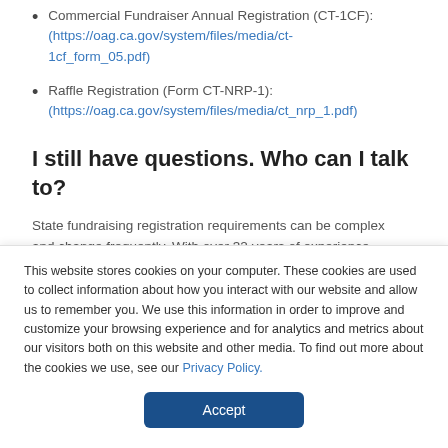Commercial Fundraiser Annual Registration (CT-1CF): (https://oag.ca.gov/system/files/media/ct-1cf_form_05.pdf)
Raffle Registration (Form CT-NRP-1): (https://oag.ca.gov/system/files/media/ct_nrp_1.pdf)
I still have questions. Who can I talk to?
State fundraising registration requirements can be complex and change frequently. With over 32 years of experience
This website stores cookies on your computer. These cookies are used to collect information about how you interact with our website and allow us to remember you. We use this information in order to improve and customize your browsing experience and for analytics and metrics about our visitors both on this website and other media. To find out more about the cookies we use, see our Privacy Policy.